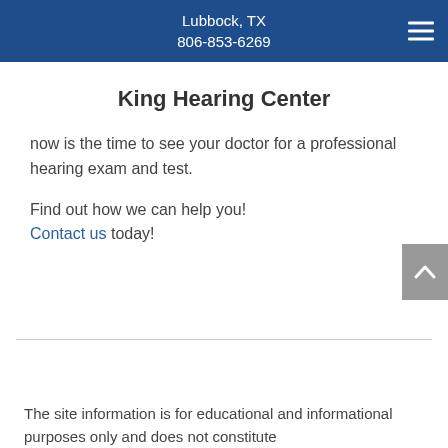Lubbock, TX
806-853-6269
King Hearing Center
now is the time to see your doctor for a professional hearing exam and test.
Find out how we can help you! Contact us today!
The site information is for educational and informational purposes only and does not constitute